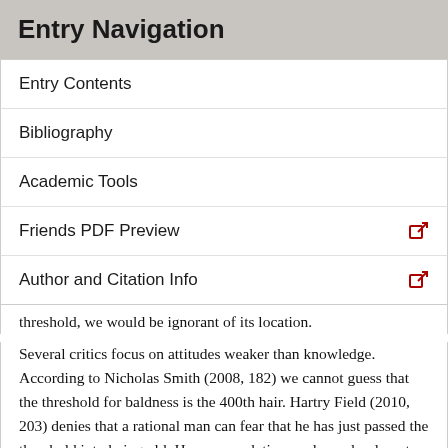Entry Navigation
Entry Contents
Bibliography
Academic Tools
Friends PDF Preview
Author and Citation Info
threshold, we would be ignorant of its location.
Several critics focus on attitudes weaker than knowledge. According to Nicholas Smith (2008, 182) we cannot guess that the threshold for baldness is the 400th hair. Hartry Field (2010, 203) denies that a rational man can fear that he has just passed the threshold into being old. Hope, speculation, and wonder do not require evidence but they do require understanding. So it is revealing that these attitudes have trouble getting a purchase on the threshold of oldness (or any other vague predicate). A simple explanation is that bare linguistic competence